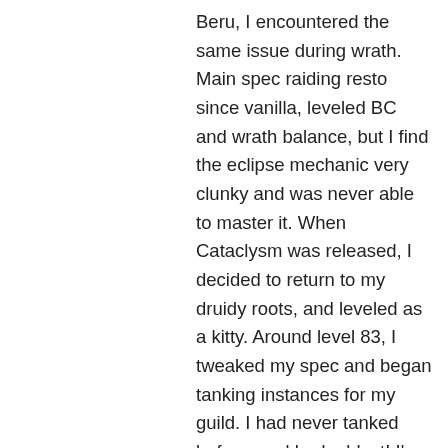Beru, I encountered the same issue during wrath. Main spec raiding resto since vanilla, leveled BC and wrath balance, but I find the eclipse mechanic very clunky and was never able to master it. When Cataclysm was released, I decided to return to my druidy roots, and leveled as a kitty. Around level 83, I tweaked my spec and began tanking instances for my guild. I had never tanked before, and had a blast! I'm still a main spec healer, but I'm my guild's go to off tank, and tank/heal raid encounters about equally. The side benefit, our tanks universally enjoy dps (admittedly, they may be odd). So, when we are on an encounter where we need fewer heals, I tank, and one of our tanks goes dps. I realize this may not be a good solution for